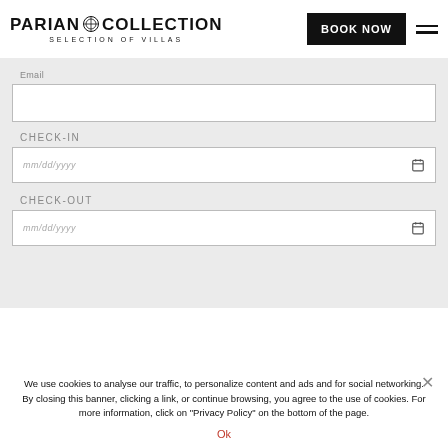PARIAN COLLECTION SELECTION OF VILLAS
Email
CHECK-IN
mm/dd/yyyy
CHECK-OUT
mm/dd/yyyy
We use cookies to analyse our traffic, to personalize content and ads and for social networking. By closing this banner, clicking a link, or continue browsing, you agree to the use of cookies. For more information, click on "Privacy Policy" on the bottom of the page.
Ok